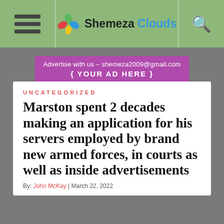Shemeza Clouds navigation bar
[Figure (logo): Shemeza Clouds logo with colorful leaf icon and text 'Shemeza Clouds']
Advertise with us – shemeza2009@gmail.com { YOUR AD HERE }
UNCATEGORIZED
Marston spent 2 decades making an application for his servers employed by brand new armed forces, in courts as well as inside advertisements
By: John McKay | March 22, 2022